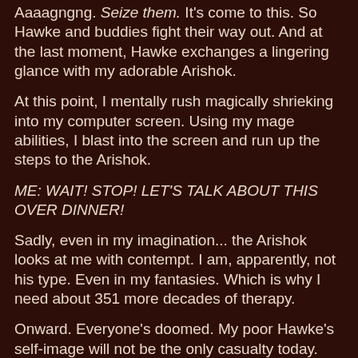Aaaagngng. Seize them. It's come to this. So Hawke and buddies fight their way out. And at the last moment, Hawke exchanges a lingering glance with my adorable Arishok.
At this point, I mentally rush magically shrieking into my computer screen. Using my mage abilities, I blast into the screen and run up the steps to the Arishok.
ME: WAIT! STOP! LET'S TALK ABOUT THIS OVER DINNER!
Sadly, even in my imagination... the Arishok looks at me with contempt. I am, apparently, not his type. Even in my fantasies. Which is why I need about 351 more decades of therapy.
Onward. Everyone's doomed. My poor Hawke's self-image will not be the only casualty today.